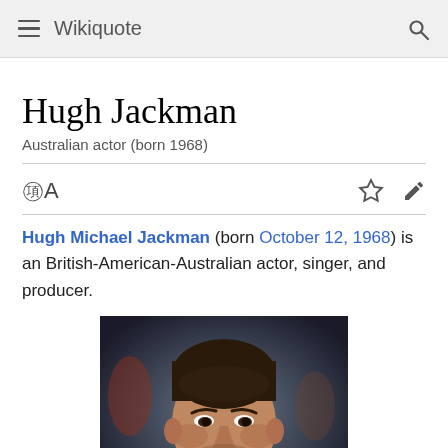Wikiquote
Hugh Jackman
Australian actor (born 1968)
Hugh Michael Jackman (born October 12, 1968) is an British-American-Australian actor, singer, and producer.
[Figure (photo): Portrait photo of Hugh Jackman, smiling, wearing a dark suit with a light blue shirt]